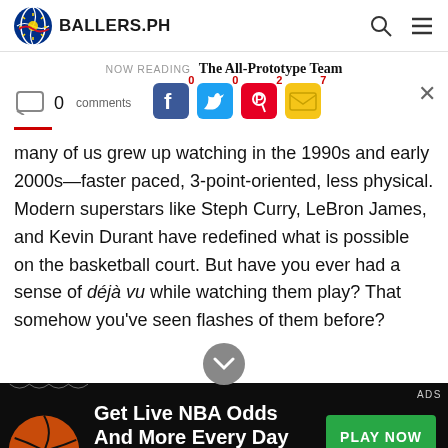BALLERS.PH
NOW READING  The All-Prototype Team
0 comments  0  0  2  7
many of us grew up watching in the 1990s and early 2000s—faster paced, 3-point-oriented, less physical. Modern superstars like Steph Curry, LeBron James, and Kevin Durant have redefined what is possible on the basketball court. But have you ever had a sense of déjà vu while watching them play? That somehow you've seen flashes of them before?
[Figure (infographic): Advertisement banner: Get Live NBA Odds And More Every Day - UBOmoney with PLAY NOW button]